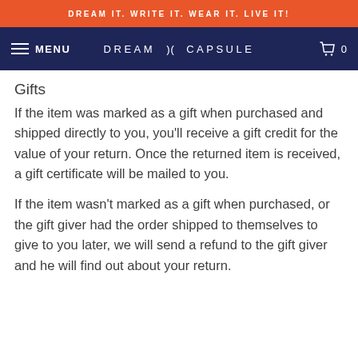DREAM IT. WRITE IT. WEAR IT. LIVE IT!
MENU   DREAM )( CAPSULE   0
Gifts
If the item was marked as a gift when purchased and shipped directly to you, you'll receive a gift credit for the value of your return. Once the returned item is received, a gift certificate will be mailed to you.
If the item wasn't marked as a gift when purchased, or the gift giver had the order shipped to themselves to give to you later, we will send a refund to the gift giver and he will find out about your return.